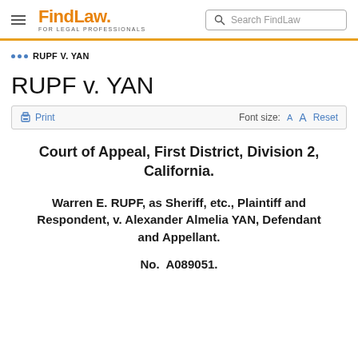FindLaw FOR LEGAL PROFESSIONALS | Search FindLaw
... RUPF V. YAN
RUPF v. YAN
Print  Font size: A A Reset
Court of Appeal, First District, Division 2, California.
Warren E. RUPF, as Sheriff, etc., Plaintiff and Respondent, v. Alexander Almelia YAN, Defendant and Appellant.
No. A089051.